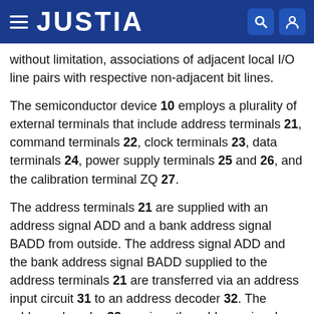JUSTIA
without limitation, associations of adjacent local I/O line pairs with respective non-adjacent bit lines.
The semiconductor device 10 employs a plurality of external terminals that include address terminals 21, command terminals 22, clock terminals 23, data terminals 24, power supply terminals 25 and 26, and the calibration terminal ZQ 27.
The address terminals 21 are supplied with an address signal ADD and a bank address signal BADD from outside. The address signal ADD and the bank address signal BADD supplied to the address terminals 21 are transferred via an address input circuit 31 to an address decoder 32. The address decoder 32 receives the address signal ADD and supplies a decoded row address signal XADD to the row decoder 12, and a decoded column address signal YADD to the column decoder 13.